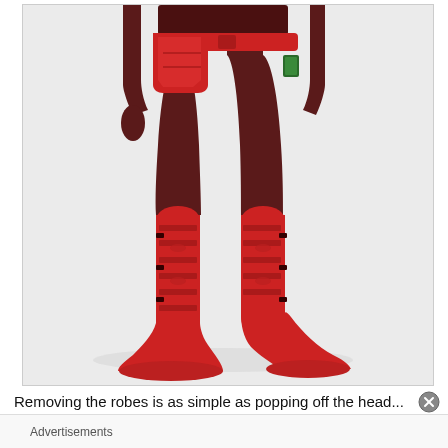[Figure (photo): Close-up photo of a red and dark maroon action figure showing the lower body and legs. The figure wears detailed red armored boots/leg guards with buckle details, dark maroon upper legs and torso, a red utility belt/hip pouch, and a green accessory at the hip. Background is white/light gray.]
Removing the robes is as simple as popping off the head...
Advertisements